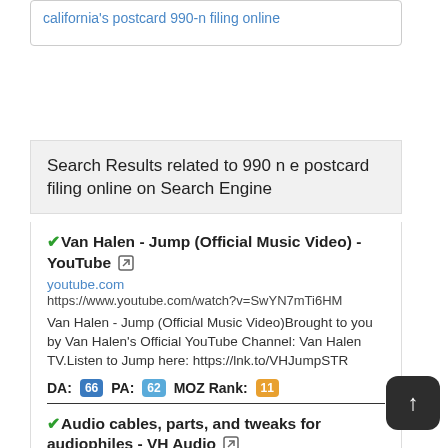california's postcard 990-n filing online
Search Results related to 990 n e postcard filing online on Search Engine
✔Van Halen - Jump (Official Music Video) - YouTube ↗
youtube.com
https://www.youtube.com/watch?v=SwYN7mTi6HM
Van Halen - Jump (Official Music Video)Brought to you by Van Halen's Official YouTube Channel: Van Halen TV.Listen to Jump here: https://lnk.to/VHJumpSTR
DA: 66  PA: 62  MOZ Rank: 11
✔Audio cables, parts, and tweaks for audiophiles - VH Audio ↗
vhaudio.com
https://www.vhaudio.com/